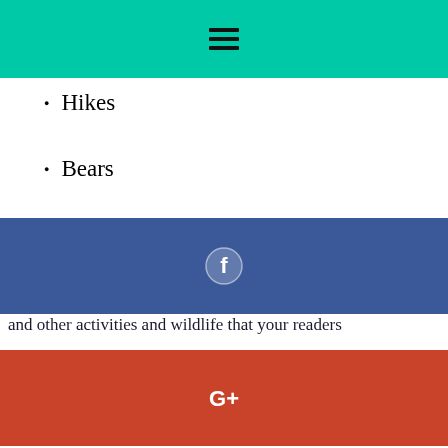≡ (hamburger menu icon)
Hikes
Bears
[Figure (other): Facebook share button - dark blue bar with Facebook icon circle]
and other activities and wildlife that your readers
[Figure (other): Google+ share button - red/orange bar with G+ icon]
some cash off your blog, look for ways to market
[Figure (other): Twitter share button - blue bar with Twitter bird icon]
[Figure (other): LinkedIn share button - dark blue bar with LinkedIn icon]
the aforementioned restaurant
the terrific lightweight hikers you found
emergency spray
your new screen tent
You can also link back to specific blog posts that